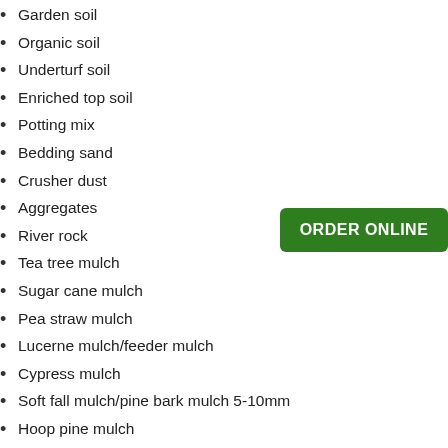Garden soil
Organic soil
Underturf soil
Enriched top soil
Potting mix
Bedding sand
Crusher dust
Aggregates
River rock
Tea tree mulch
Sugar cane mulch
Pea straw mulch
Lucerne mulch/feeder mulch
Cypress mulch
Soft fall mulch/pine bark mulch 5-10mm
Hoop pine mulch
Forest mulch
Soil improver
Concrete blend
Cement & premixed concrete
Road base
[Figure (other): Green button with white text reading ORDER ONLINE]